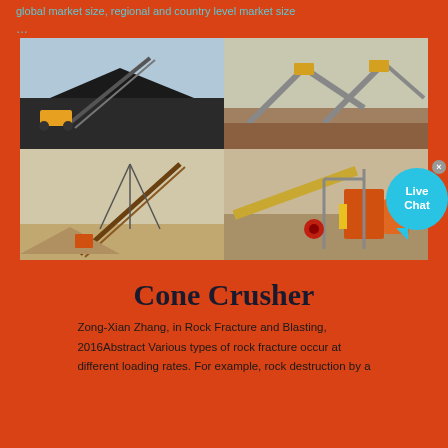global market size, regional and country level market size …
[Figure (photo): Four-panel grid of industrial mining/crushing equipment photos: top-left shows a conveyor belt loader over a pile of coal/aggregate; top-right shows a series of conveyor belts at a quarry/mine site; bottom-left shows a crane-like conveyor structure at a gravel site; bottom-right shows a rock crushing plant with yellow and orange machinery.]
Cone Crusher
Zong-Xian Zhang, in Rock Fracture and Blasting, 2016Abstract Various types of rock fracture occur at different loading rates. For example, rock destruction by a